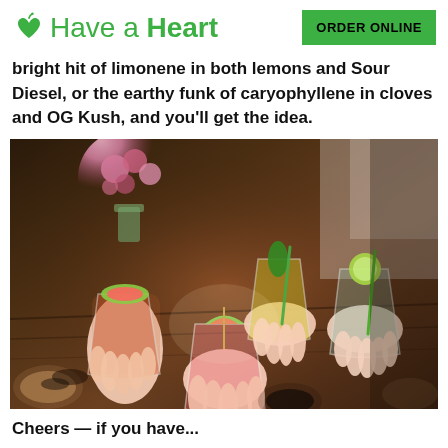Have a Heart | ORDER ONLINE
bright hit of limonene in both lemons and Sour Diesel, or the earthy funk of caryophyllene in cloves and OG Kush, and you'll get the idea.
[Figure (photo): Several people clinking cocktail glasses garnished with watermelon slices and jalapeños over a dark wooden table with flowers in the background]
Cheers — if you have...